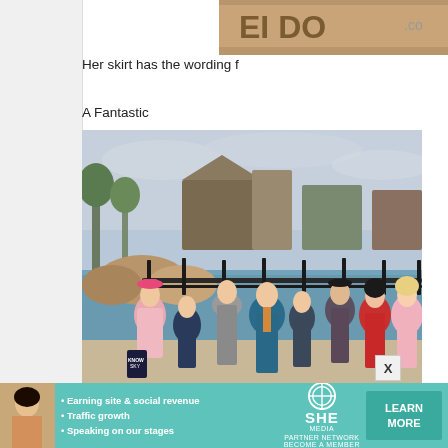[Figure (photo): Partial top image showing a sign or logo with text partially visible, brown/tan coloring]
Her skirt has the wording f
A Fantastic
[Figure (photo): Group photo of people in costumes at a theme park. Several people dressed in Fantastic Beasts themed costumes standing in front of a water area with rocks and trees. Characters include a woman in pink, person in teal coat, woman in red, woman in pink suit, and others.]
[Figure (other): Advertisement banner for SHE Media Partner Network with bullet points: Earning site & social revenue, Traffic growth, Speaking on our stages. Includes LEARN MORE button and woman photo.]